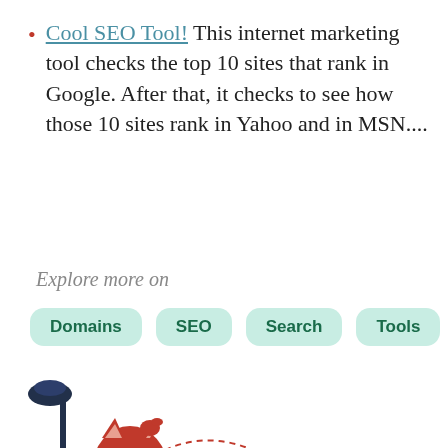Cool SEO Tool! This internet marketing tool checks the top 10 sites that rank in Google. After that, it checks to see how those 10 sites rank in Yahoo and in MSN....
Explore more on
Domains | SEO | Search | Tools
[Figure (illustration): Two cartoon cat/creature mascots: one red fluffy cat sitting in a blue armchair with a laptop and a lamp, and another red round creature wearing a safari hat holding a torch, both illustrated in a fun colorful style]